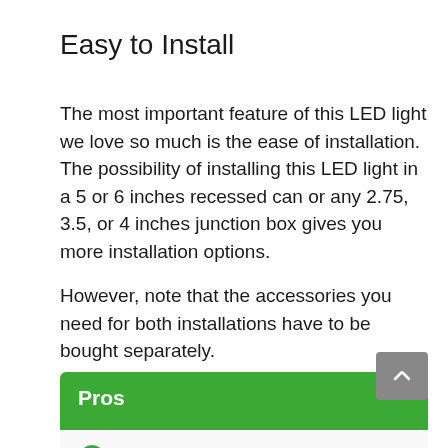Easy to Install
The most important feature of this LED light we love so much is the ease of installation. The possibility of installing this LED light in a 5 or 6 inches recessed can or any 2.75, 3.5, or 4 inches junction box gives you more installation options.
However, note that the accessories you need for both installations have to be bought separately.
Pros
Compatible with several dimmers